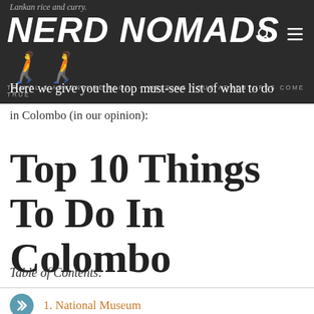Lankan rice and curry.
[Figure (logo): Nerd Nomads logo - white text on dark background with two hiker silhouettes. Subtitle: TRAVEL & ADVENTURE BLOG - HELPING YOUR ADVENTURES COME TRUE]
Here we give you the top must-see list of what to do in Colombo (in our opinion):
Top 10 Things To Do In Colombo
Table of Contents:
1. National Museum
2. Beautiful Colonial Buildings In The Fort Area
3. Gangaramaya Temple